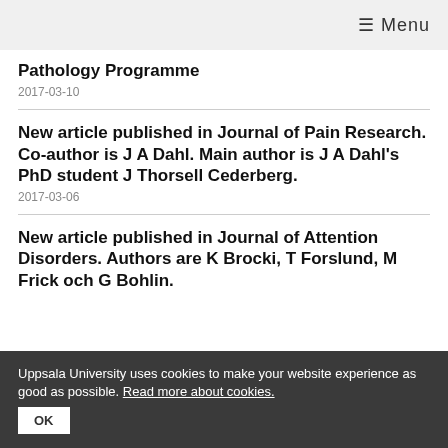☰ Menu
Pathology Programme
2017-03-10
New article published in Journal of Pain Research. Co-author is J A Dahl. Main author is J A Dahl's PhD student J Thorsell Cederberg.
2017-03-06
New article published in Journal of Attention Disorders. Authors are K Brocki, T Forslund, M Frick och G Bohlin.
Uppsala University uses cookies to make your website experience as good as possible. Read more about cookies.